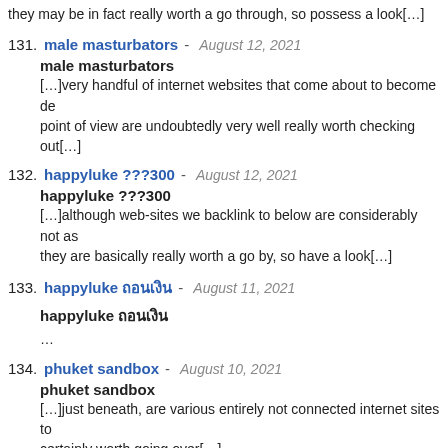they may be in fact really worth a go through, so possess a look[…]
131. male masturbators - August 12, 2021

male masturbators
[…]very handful of internet websites that come about to become det point of view are undoubtedly very well really worth checking out[…]
132. happyluke ???300 - August 12, 2021

happyluke ???300
[…]although web-sites we backlink to below are considerably not as they are basically really worth a go by, so have a look[…]
133. happyluke ถอนเงิน - August 11, 2021

happyluke ถอนเงิน
…
134. phuket sandbox - August 10, 2021

phuket sandbox
[…]just beneath, are various entirely not connected internet sites to certainly worth going over[…]
135. Cheap Cocaine For Sale - August 10, 2021